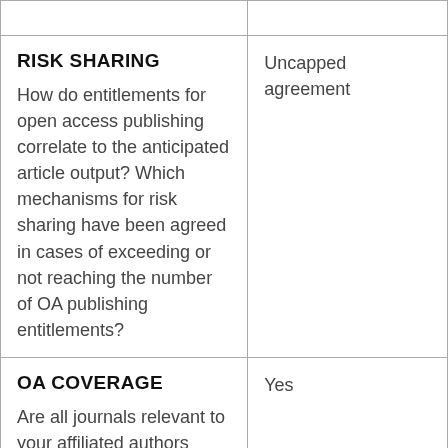|  |  |
| --- | --- |
|  |  |
| RISK SHARING

How do entitlements for open access publishing correlate to the anticipated article output? Which mechanisms for risk sharing have been agreed in cases of exceeding or not reaching the number of OA publishing entitlements? | Uncapped agreement |
| OA COVERAGE

Are all journals relevant to your affiliated authors | Yes |